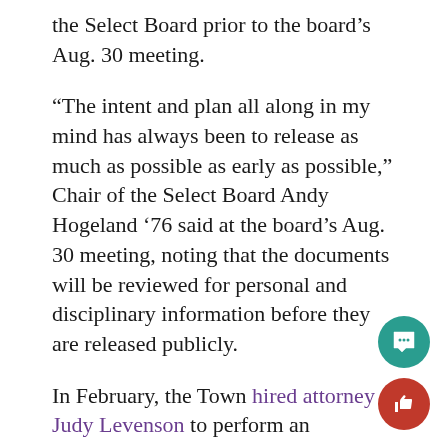the Select Board prior to the board's Aug. 30 meeting.
“The intent and plan all along in my mind has always been to release as much as possible as early as possible,” Chair of the Select Board Andy Hogeland ’76 said at the board’s Aug. 30 meeting, noting that the documents will be reviewed for personal and disciplinary information before they are released publicly.
In February, the Town hired attorney Judy Levenson to perform an independent investigation into allegations of racial harassment and sexual assault by WPD officers raised in a lawsuit by WPD Sergeant Scott McGowan against then-WPD Chief Kyle Johnson, then-Town Manager Jason Hoch ’95, and the Town. Johnson resigned in December...